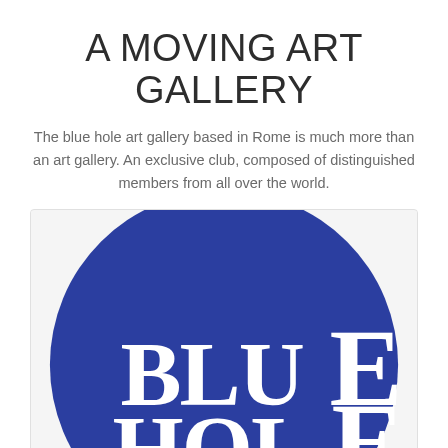A MOVING ART GALLERY
The blue hole art gallery based in Rome is much more than an art gallery. An exclusive club, composed of distinguished members from all over the world.
[Figure (logo): Blue Hole art gallery logo: a large blue circle with white serif text reading 'BLUE HOLE' in bold capital letters, partially cropped at bottom]